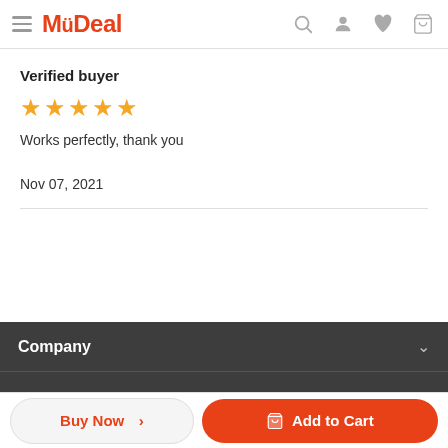MyDeal
Verified buyer
[Figure (other): 5 orange/yellow star rating icons]
Works perfectly, thank you
Nov 07, 2021
Company
Buy Now >
Add to Cart